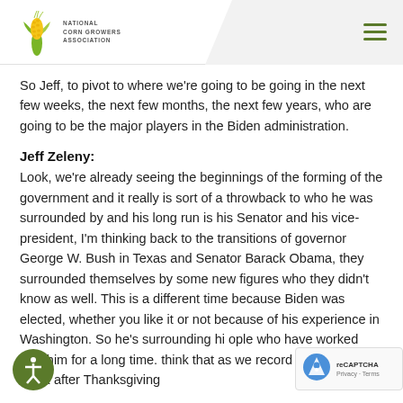National Corn Growers Association
So Jeff, to pivot to where we're going to be going in the next few weeks, the next few months, the next few years, who are going to be the major players in the Biden administration.
Jeff Zeleny:
Look, we're already seeing the beginnings of the forming of the government and it really is sort of a throwback to who he was surrounded by and his long run is his Senator and his vice-president, I'm thinking back to the transitions of governor George W. Bush in Texas and Senator Barack Obama, they surrounded themselves by some new figures who they didn't know as well. This is a different time because Biden was elected, whether you like it or not because of his experience in Washington. So he's surrounding hi[m with] ople who have worked with him for a long time. [I] think that as we record this now the week after Thanksgiving